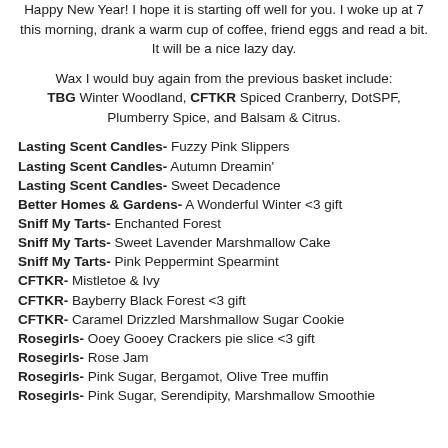Happy New Year! I hope it is starting off well for you. I woke up at 7 this morning, drank a warm cup of coffee, friend eggs and read a bit. It will be a nice lazy day.
Wax I would buy again from the previous basket include: TBG Winter Woodland, CFTKR Spiced Cranberry, DotSPF, Plumberry Spice, and Balsam & Citrus.
Lasting Scent Candles- Fuzzy Pink Slippers
Lasting Scent Candles- Autumn Dreamin'
Lasting Scent Candles- Sweet Decadence
Better Homes & Gardens- A Wonderful Winter <3 gift
Sniff My Tarts- Enchanted Forest
Sniff My Tarts- Sweet Lavender Marshmallow Cake
Sniff My Tarts- Pink Peppermint Spearmint
CFTKR- Mistletoe & Ivy
CFTKR- Bayberry Black Forest <3 gift
CFTKR- Caramel Drizzled Marshmallow Sugar Cookie
Rosegirls- Ooey Gooey Crackers pie slice <3 gift
Rosegirls- Rose Jam
Rosegirls- Pink Sugar, Bergamot, Olive Tree muffin
Rosegirls- Pink Sugar, Serendipity, Marshmallow Smoothie